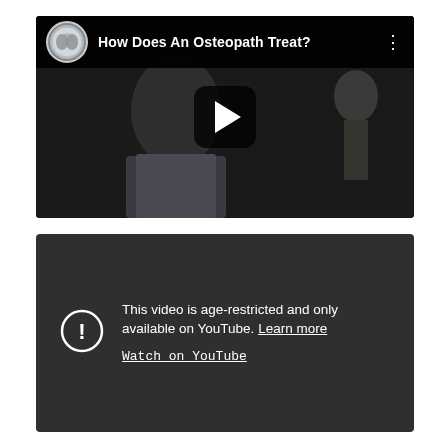[Figure (screenshot): YouTube video thumbnail for 'How Does An Osteopath Treat?' showing a doctor in a white coat in a dark clinical setting, with a play button overlay and channel avatar and title in the top bar]
[Figure (screenshot): YouTube age-restriction notice panel with dark background showing a warning icon (circle with exclamation mark), text 'This video is age-restricted and only available on YouTube. Learn more' and 'Watch on YouTube' link]